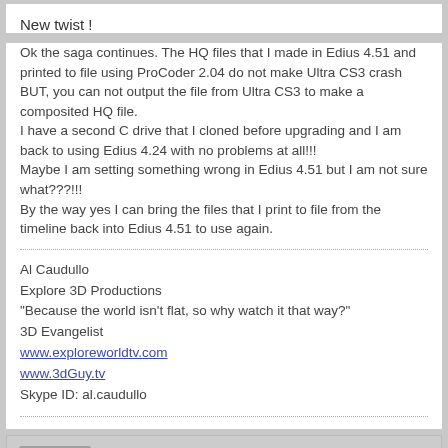New twist !
Ok the saga continues. The HQ files that I made in Edius 4.51 and printed to file using ProCoder 2.04 do not make Ultra CS3 crash BUT, you can not output the file from Ultra CS3 to make a composited HQ file.
I have a second C drive that I cloned before upgrading and I am back to using Edius 4.24 with no problems at all!!!
Maybe I am setting something wrong in Edius 4.51 but I am not sure what???!!!
By the way yes I can bring the files that I print to file from the timeline back into Edius 4.51 to use again.
Al Caudullo
Explore 3D Productions
"Because the world isn't flat, so why watch it that way?"
3D Evangelist
www.exploreworldtv.com
www.3dGuy.tv
Skype ID: al.caudullo
RandyD
Member